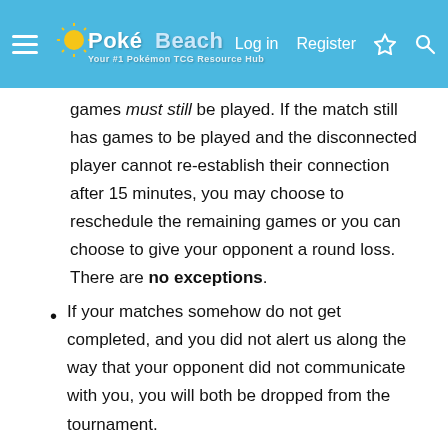PokéBeach — Log in | Register
games must still be played. If the match still has games to be played and the disconnected player cannot re-establish their connection after 15 minutes, you may choose to reschedule the remaining games or you can choose to give your opponent a round loss. There are no exceptions.
If your matches somehow do not get completed, and you did not alert us along the way that your opponent did not communicate with you, you will both be dropped from the tournament.
Second Chances: If your opponent breaks a rule, via a deck mishap or tardiness, and you decide to play the match rather than file a complaint, you must then accept